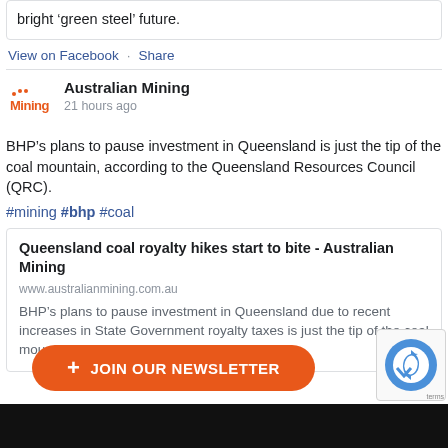bright ‘green steel’ future.
View on Facebook · Share
[Figure (logo): Australian Mining magazine logo in orange/red text]
Australian Mining
21 hours ago
BHP's plans to pause investment in Queensland is just the tip of the coal mountain, according to the Queensland Resources Council (QRC).
#mining #bhp #coal
Queensland coal royalty hikes start to bite - Australian Mining
www.australianmining.com.au
BHP's plans to pause investment in Queensland due to recent increases in State Government royalty taxes is just the tip of the coal mountain.
+ JOIN OUR NEWSLETTER